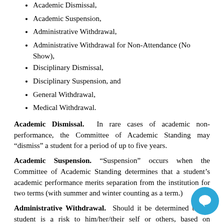Academic Dismissal,
Academic Suspension,
Administrative Withdrawal,
Administrative Withdrawal for Non-Attendance (No Show),
Disciplinary Dismissal,
Disciplinary Suspension, and
General Withdrawal,
Medical Withdrawal.
Academic Dismissal. In rare cases of academic non-performance, the Committee of Academic Standing may “dismiss” a student for a period of up to five years.
Academic Suspension. “Suspension” occurs when the Committee of Academic Standing determines that a student’s academic performance merits separation from the institution for two terms (with summer and winter counting as a term.)
Administrative Withdrawal. Should it be determined that a student is a risk to him/her/their self or others, based on exhibited and documented behavior, or if a student continues to remain academically unengaged after reasonable intervention from the University, the student may be administratively withdrawn. Vice President for Campus Life and Operational Management in